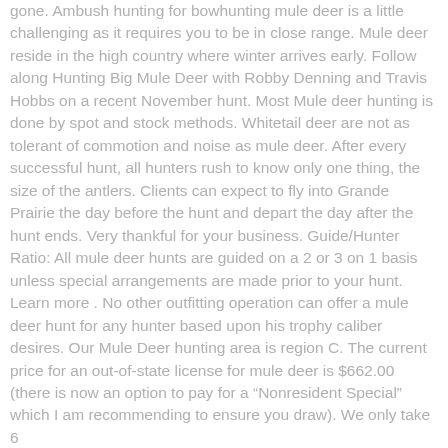gone. Ambush hunting for bowhunting mule deer is a little challenging as it requires you to be in close range. Mule deer reside in the high country where winter arrives early. Follow along Hunting Big Mule Deer with Robby Denning and Travis Hobbs on a recent November hunt. Most Mule deer hunting is done by spot and stock methods. Whitetail deer are not as tolerant of commotion and noise as mule deer. After every successful hunt, all hunters rush to know only one thing, the size of the antlers. Clients can expect to fly into Grande Prairie the day before the hunt and depart the day after the hunt ends. Very thankful for your business. Guide/Hunter Ratio: All mule deer hunts are guided on a 2 or 3 on 1 basis unless special arrangements are made prior to your hunt. Learn more . No other outfitting operation can offer a mule deer hunt for any hunter based upon his trophy caliber desires. Our Mule Deer hunting area is region C. The current price for an out-of-state license for mule deer is $662.00 (there is now an option to pay for a “Nonresident Special” which I am recommending to ensure you draw). We only take 6